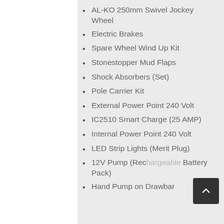AL-KO 250mm Swivel Jockey Wheel
Electric Brakes
Spare Wheel Wind Up Kit
Stonestopper Mud Flaps
Shock Absorbers (Set)
Pole Carrier Kit
External Power Point 240 Volt
IC2510 Smart Charge (25 AMP)
Internal Power Point 240 Volt
LED Strip Lights (Merit Plug)
12V Pump (Rechargeable Battery Pack)
Hand Pump on Drawbar